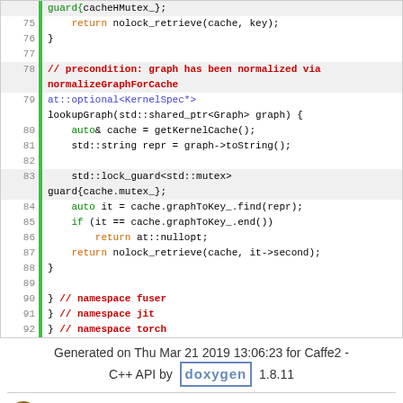[Figure (screenshot): C++ source code snippet showing lines 75-92 of a kernel cache lookup function with syntax highlighting. Green bar on left margin. Line numbers in gray. Keywords in orange/blue/red. Comments in red bold.]
Generated on Thu Mar 21 2019 13:06:23 for Caffe2 - C++ API by doxygen 1.8.11
Facebook Open Source
Open Source Projects
GitHub
Twitter
Contribute to this project on GitHub